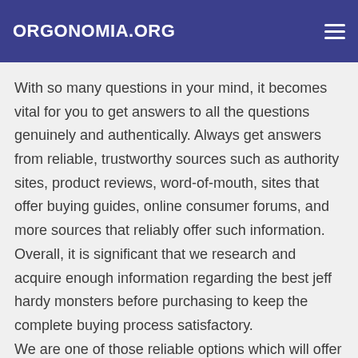ORGONOMIA.ORG
With so many questions in your mind, it becomes vital for you to get answers to all the questions genuinely and authentically. Always get answers from reliable, trustworthy sources such as authority sites, product reviews, word-of-mouth, sites that offer buying guides, online consumer forums, and more sources that reliably offer such information. Overall, it is significant that we research and acquire enough information regarding the best jeff hardy monsters before purchasing to keep the complete buying process satisfactory.
We are one of those reliable options which will offer